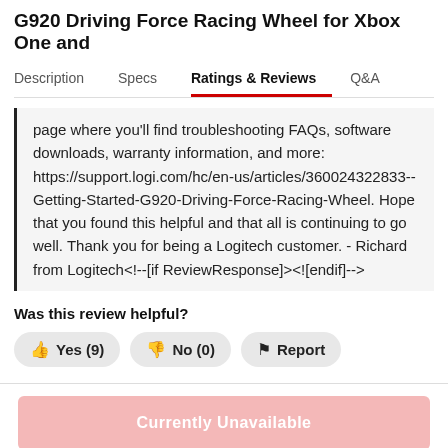G920 Driving Force Racing Wheel for Xbox One and
Description  Specs  Ratings & Reviews  Q&A
page where you'll find troubleshooting FAQs, software downloads, warranty information, and more: https://support.logi.com/hc/en-us/articles/360024322833--Getting-Started-G920-Driving-Force-Racing-Wheel. Hope that you found this helpful and that all is continuing to go well. Thank you for being a Logitech customer. - Richard from Logitech<!--[if ReviewResponse]><![endif]-->
Was this review helpful?
Yes (9)
No (0)
Report
Currently Unavailable